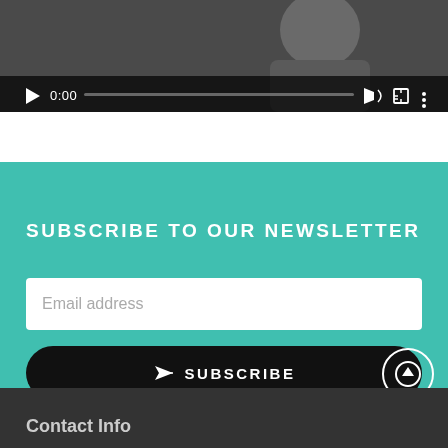[Figure (screenshot): Video player thumbnail showing a person, with playback controls: play button, 0:00 timestamp, progress bar, volume icon, fullscreen icon, and options dots]
SUBSCRIBE TO OUR NEWSLETTER
Email address
SUBSCRIBE
Contact Info